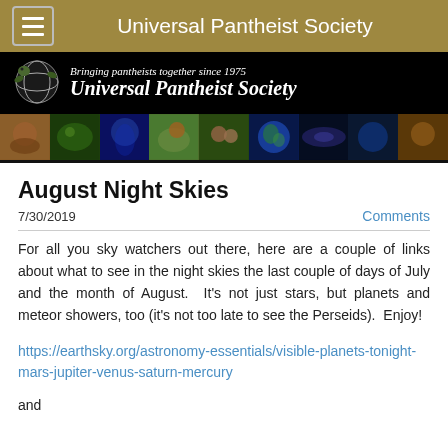Universal Pantheist Society
[Figure (screenshot): Universal Pantheist Society banner with logo turtle/globe and tagline 'Bringing pantheists together since 1975']
[Figure (photo): Nature photo strip: wildlife, jellyfish, deer, people, earth globe, manta ray, underwater, animals]
August Night Skies
7/30/2019
Comments
For all you sky watchers out there, here are a couple of links about what to see in the night skies the last couple of days of July and the month of August.  It's not just stars, but planets and meteor showers, too (it's not too late to see the Perseids).  Enjoy!
https://earthsky.org/astronomy-essentials/visible-planets-tonight-mars-jupiter-venus-saturn-mercury
and